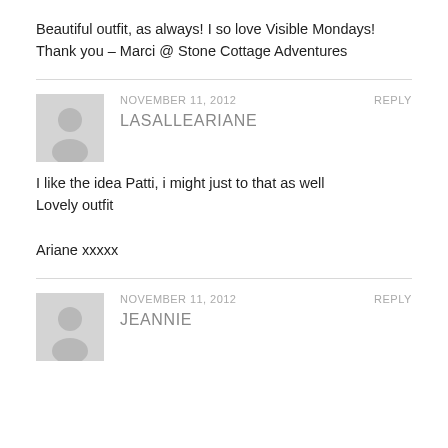Beautiful outfit, as always!  I so love Visible Mondays!
Thank you – Marci @ Stone Cottage Adventures
NOVEMBER 11, 2012
REPLY
LASALLEARIANE
I like the idea Patti, i might just to that as well
Lovely outfit

Ariane xxxxx
NOVEMBER 11, 2012
REPLY
JEANNIE